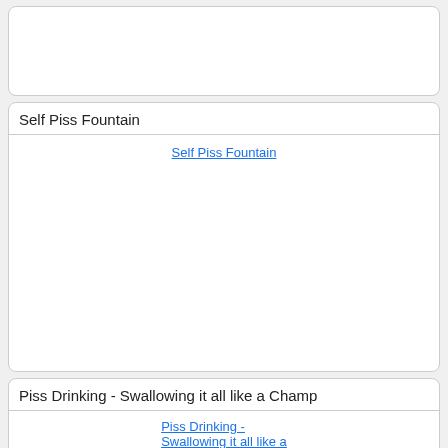[Figure (other): Empty card at top of page]
Self Piss Fountain
[Figure (other): Broken image placeholder linking to 'Self Piss Fountain']
Piss Drinking - Swallowing it all like a Champ
[Figure (other): Broken image placeholder linking to 'Piss Drinking - Swallowing it all like a Champ']